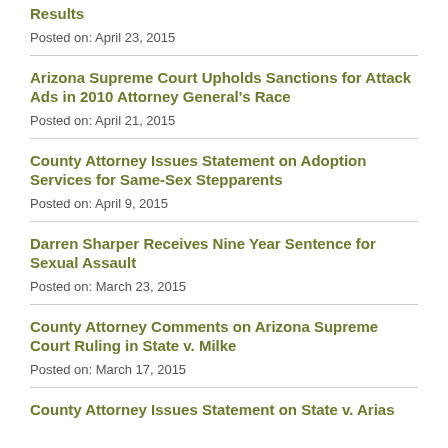Results
Posted on: April 23, 2015
Arizona Supreme Court Upholds Sanctions for Attack Ads in 2010 Attorney General's Race
Posted on: April 21, 2015
County Attorney Issues Statement on Adoption Services for Same-Sex Stepparents
Posted on: April 9, 2015
Darren Sharper Receives Nine Year Sentence for Sexual Assault
Posted on: March 23, 2015
County Attorney Comments on Arizona Supreme Court Ruling in State v. Milke
Posted on: March 17, 2015
County Attorney Issues Statement on State v. Arias